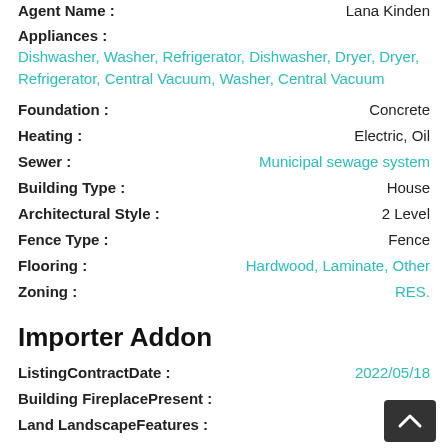Agent Name : Lana Kinden
Appliances : Dishwasher, Washer, Refrigerator, Dishwasher, Dryer, Dryer, Refrigerator, Central Vacuum, Washer, Central Vacuum
Foundation : Concrete
Heating : Electric, Oil
Sewer : Municipal sewage system
Building Type : House
Architectural Style : 2 Level
Fence Type : Fence
Flooring : Hardwood, Laminate, Other
Zoning : RES.
Importer Addon
ListingContractDate : 2022/05/18
Building FireplacePresent :
Land LandscapeFeatures : Lands